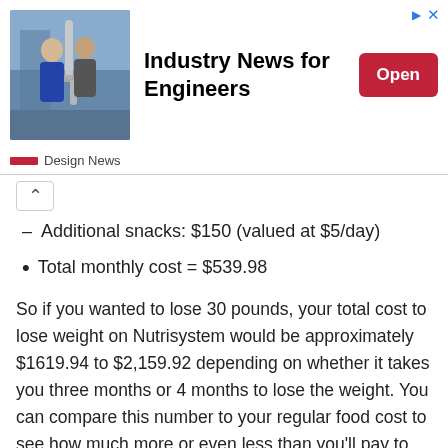[Figure (photo): Advertisement banner: photo of two men with a robotic arm in an industrial setting. Text reads 'Industry News for Engineers' with an 'Open' button. Source: Design News.]
Additional snacks: $150 (valued at $5/day)
Total monthly cost = $539.98
So if you wanted to lose 30 pounds, your total cost to lose weight on Nutrisystem would be approximately $1619.94 to $2,159.92 depending on whether it takes you three months or 4 months to lose the weight. You can compare this number to your regular food cost to see how much more or even less than you'll pay to be on a diet.
Of course, your total cost might be slightly different depending on which plan that you go with and your flex food options. But you can use this same method to calculate your